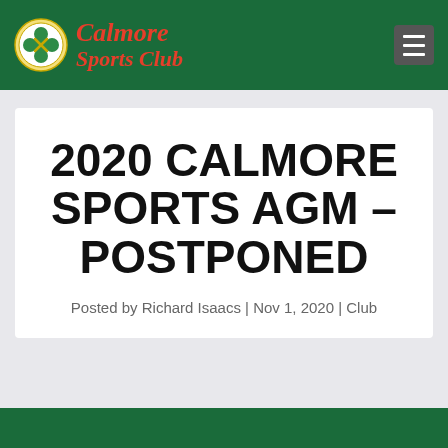Calmore Sports Club
2020 CALMORE SPORTS AGM – POSTPONED
Posted by Richard Isaacs | Nov 1, 2020 | Club